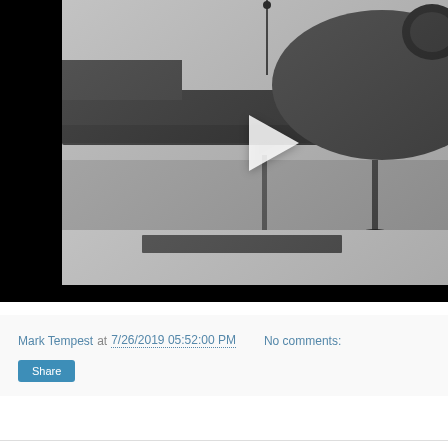[Figure (screenshot): Video player screenshot showing a black and white image of an aircraft on the ground with a play button overlay in the center. The video frame shows the aircraft fuselage, engine, and landing gear area. There is a black border on the left side of the player.]
Mark Tempest at 7/26/2019 05:52:00 PM    No comments:
Share